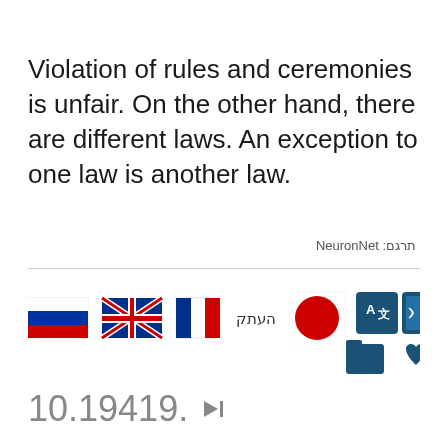Violation of rules and ceremonies is unfair.  On the other hand, there are different laws.  An exception to one law is another law.
תרגם: NeuronNet
[Figure (infographic): Row of interactive icons: Russian flag, UK flag, French flag, Hebrew copy button, Japan flag red circle, translate A文 icon, audio document icon, folder icon, heart icon]
10.19419.  🔈